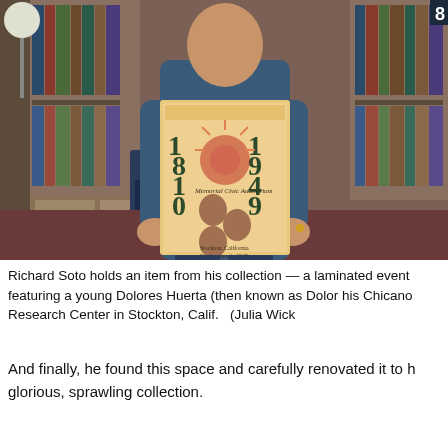[Figure (photo): A man (Richard Soto) standing in a library/research center filled with bookshelves, holding up a laminated flyer/program from 1810-1949 featuring a young Dolores Huerta at a Memorial Civic Auditorium event in Stockton, California.]
Richard Soto holds an item from his collection — a laminated event featuring a young Dolores Huerta (then known as Dolor his Chicano Research Center in Stockton, Calif.   (Julia Wick
And finally, he found this space and carefully renovated it to h glorious, sprawling collection.